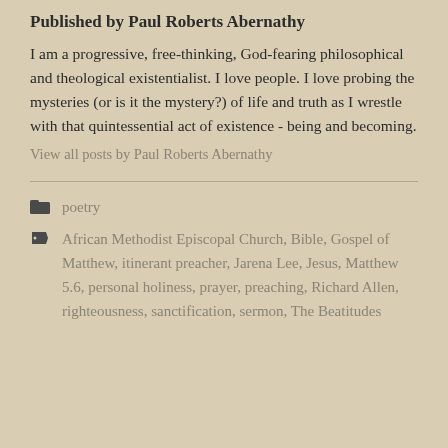Published by Paul Roberts Abernathy
I am a progressive, free-thinking, God-fearing philosophical and theological existentialist. I love people. I love probing the mysteries (or is it the mystery?) of life and truth as I wrestle with that quintessential act of existence - being and becoming.
View all posts by Paul Roberts Abernathy
poetry
African Methodist Episcopal Church, Bible, Gospel of Matthew, itinerant preacher, Jarena Lee, Jesus, Matthew 5.6, personal holiness, prayer, preaching, Richard Allen, righteousness, sanctification, sermon, The Beatitudes